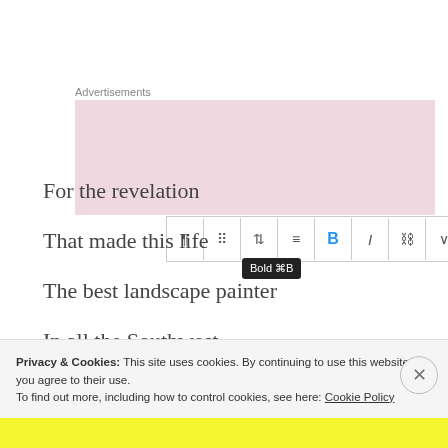Advertisements
[Figure (screenshot): WordPress block editor toolbar showing paragraph, drag, move, align, Bold (highlighted in blue), Italic, link, more, and options buttons. A tooltip reads 'Bold ⌘B'.]
For the revelation
That made this life
The best landscape painter
In all the Southwest
The mud rapid runner
Privacy & Cookies: This site uses cookies. By continuing to use this website, you agree to their use.
To find out more, including how to control cookies, see here: Cookie Policy
Close and accept